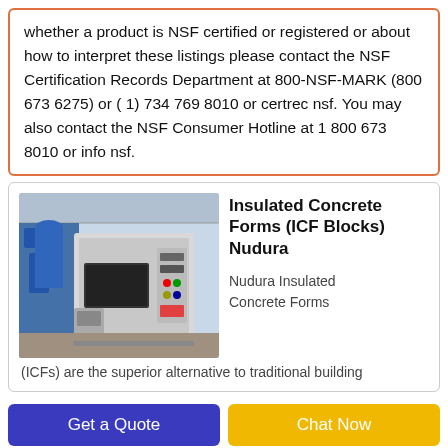whether a product is NSF certified or registered or about how to interpret these listings please contact the NSF Certification Records Department at 800-NSF-MARK (800 673 6275) or ( 1) 734 769 8010 or certrec nsf. You may also contact the NSF Consumer Hotline at 1 800 673 8010 or info nsf.
[Figure (photo): Industrial machinery, appears to be a large manufacturing or processing machine in a factory/warehouse setting with blue equipment in background]
Insulated Concrete Forms (ICF Blocks) Nudura
Nudura Insulated Concrete Forms
(ICFs) are the superior alternative to traditional building